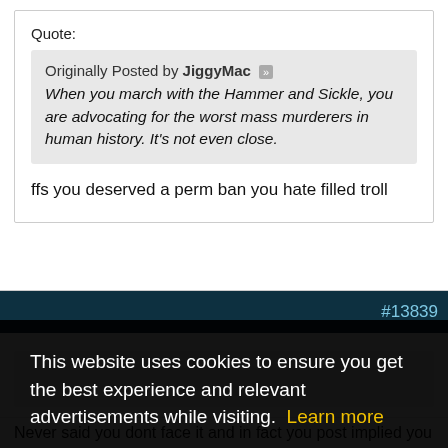Quote:
Originally Posted by JiggyMac
When you march with the Hammer and Sickle, you are advocating for the worst mass murderers in human history. It's not even close.
ffs you deserved a perm ban you hate filled troll
#13839
This website uses cookies to ensure you get the best experience and relevant advertisements while visiting. Learn more
Got it!